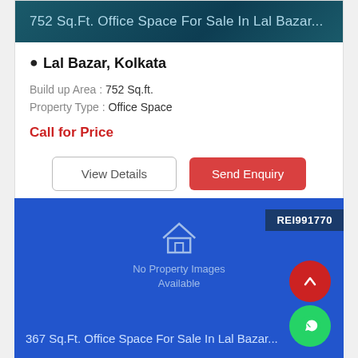752 Sq.Ft. Office Space For Sale In Lal Bazar...
Lal Bazar, Kolkata
Build up Area : 752 Sq.ft.
Property Type : Office Space
Call for Price
[Figure (screenshot): No Property Images Available placeholder with house icon, ID badge REI991770, showing blue background]
367 Sq.Ft. Office Space For Sale In Lal Bazar...